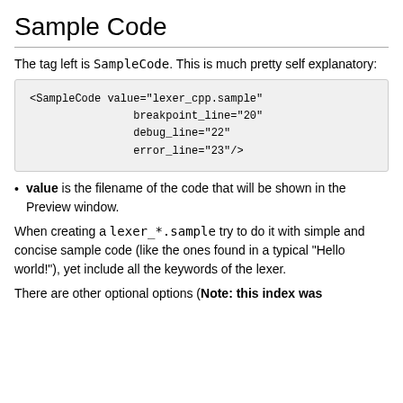Sample Code
The tag left is SampleCode. This is much pretty self explanatory:
<SampleCode value="lexer_cpp.sample"
                    breakpoint_line="20"
                    debug_line="22"
                    error_line="23"/>
value is the filename of the code that will be shown in the Preview window.
When creating a lexer_*.sample try to do it with simple and concise sample code (like the ones found in a typical "Hello world!"), yet include all the keywords of the lexer.
There are other optional options (Note: this index was